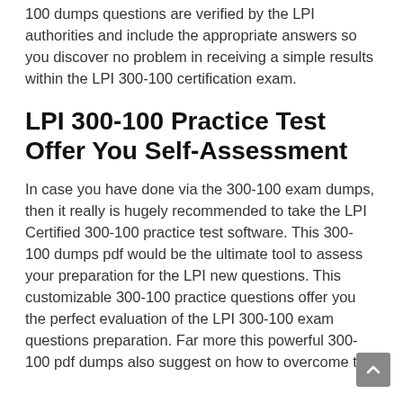100 dumps questions are verified by the LPI authorities and include the appropriate answers so you discover no problem in receiving a simple results within the LPI 300-100 certification exam.
LPI 300-100 Practice Test Offer You Self-Assessment
In case you have done via the 300-100 exam dumps, then it really is hugely recommended to take the LPI Certified 300-100 practice test software. This 300-100 dumps pdf would be the ultimate tool to assess your preparation for the LPI new questions. This customizable 300-100 practice questions offer you the perfect evaluation of the LPI 300-100 exam questions preparation. Far more this powerful 300-100 pdf dumps also suggest on how to overcome the